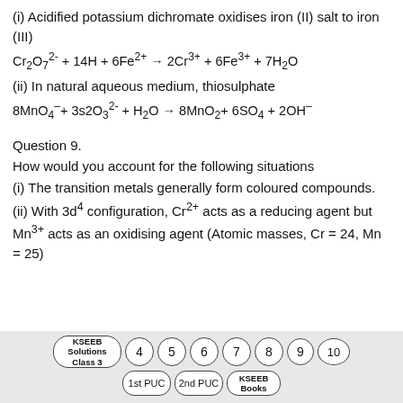(i) Acidified potassium dichromate oxidises iron (II) salt to iron (III)
(ii) In natural aqueous medium, thiosulphate
Question 9.
How would you account for the following situations
(i) The transition metals generally form coloured compounds.
(ii) With 3d⁴ configuration, Cr²⁺ acts as a reducing agent but Mn³⁺ acts as an oxidising agent (Atomic masses, Cr = 24, Mn = 25)
[Figure (infographic): Navigation bar with oval buttons: KSEEB Solutions Class 3, numbers 4-10, 1st PUC, 2nd PUC, KSEEB Books]